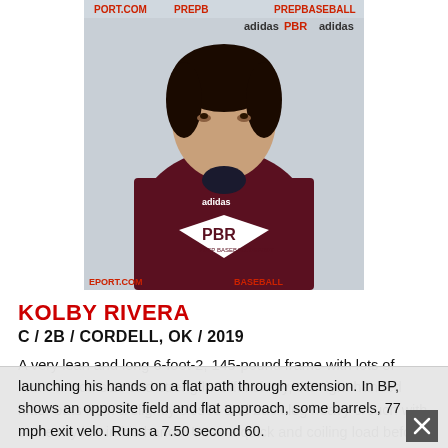[Figure (photo): Young male baseball player wearing a dark maroon PBR (Prep Baseball Report) adidas t-shirt, photographed in front of a branded PBR/adidas backdrop]
KOLBY RIVERA
C / 2B / CORDELL, OK / 2019
A very lean and long 6-foot-2, 145-pound frame with lots of room to add size and strength. Offensively, the right-handed hitter bats from a slightly closed and back leg heavy crouch with some rhythm in his hands. Uses a quick and coiling load before taking a short stride and launching his hands on a flat path through extension. In BP, shows an opposite field and flat approach, some barrels, 77 mph exit velo. Runs a 7.50 second 60.